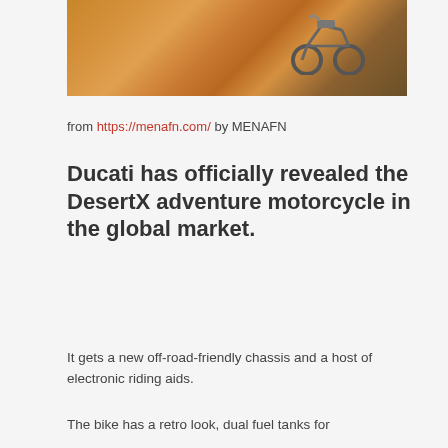[Figure (photo): Motorcycle riding on desert sand dunes, warm orange/golden tones]
from https://menafn.com/ by MENAFN
Ducati has officially revealed the DesertX adventure motorcycle in the global market.
It gets a new off-road-friendly chassis and a host of electronic riding aids.
The bike has a retro look, dual fuel tanks for